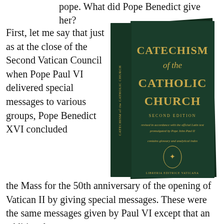pope. What did Pope Benedict give her?
[Figure (photo): Book cover of 'Catechism of the Catholic Church, Second Edition' — dark green hardcover with gold lettering, showing spine and front cover. Published by Libreria Editrice Vaticana.]
First, let me say that just as at the close of the Second Vatican Council when Pope Paul VI delivered special messages to various groups, Pope Benedict XVI concluded the Mass for the 50th anniversary of the opening of Vatican II by giving special messages. These were the same messages given by Paul VI except that an additional one